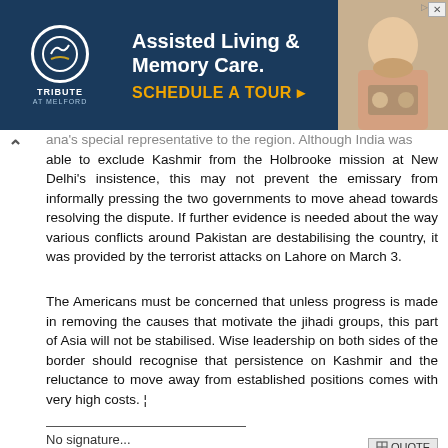[Figure (other): Tribute at Melford advertisement banner: Assisted Living & Memory Care. SCHEDULE A TOUR ▸ with logo and photo of elderly person]
...ana's special representative to the region. Although India was able to exclude Kashmir from the Holbrooke mission at New Delhi's insistence, this may not prevent the emissary from informally pressing the two governments to move ahead towards resolving the dispute. If further evidence is needed about the way various conflicts around Pakistan are destabilising the country, it was provided by the terrorist attacks on Lahore on March 3.
The Americans must be concerned that unless progress is made in removing the causes that motivate the jihadi groups, this part of Asia will not be stabilised. Wise leadership on both sides of the border should recognise that persistence on Kashmir and the reluctance to move away from established positions comes with very high costs. ¦
No signature...
The Following User Says Thank You to Predator For This Useful Post:
Muhammad iqbal Serwar (Monday, May 16, 2011)
Wednesday, March 18, 2009   #6